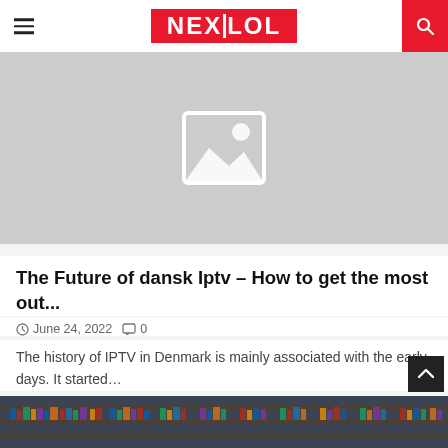NEXTLOL
[Figure (other): Placeholder image with grey background and image icon]
The Future of dansk Iptv – How to get the most out...
June 24, 2022   0
The history of IPTV in Denmark is mainly associated with the early days. It started...
[Figure (photo): Library interior with bookshelves and computer screens]